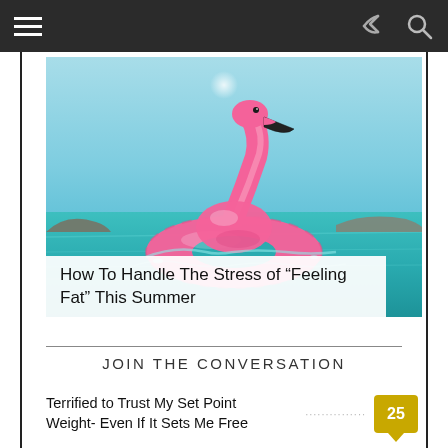Navigation bar with hamburger menu, share icon, and search icon
[Figure (photo): Pink inflatable flamingo pool float in turquoise ocean water with rocky coastline in background and bright sky with sun glare]
How To Handle The Stress of “Feeling Fat” This Summer
JOIN THE CONVERSATION
Terrified to Trust My Set Point Weight- Even If It Sets Me Free
25